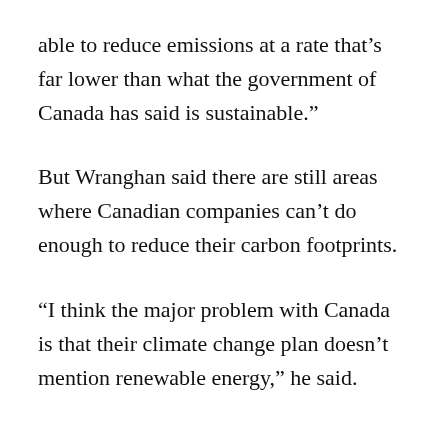able to reduce emissions at a rate that’s far lower than what the government of Canada has said is sustainable.”
But Wranghan said there are still areas where Canadian companies can’t do enough to reduce their carbon footprints.
“I think the major problem with Canada is that their climate change plan doesn’t mention renewable energy,” he said.